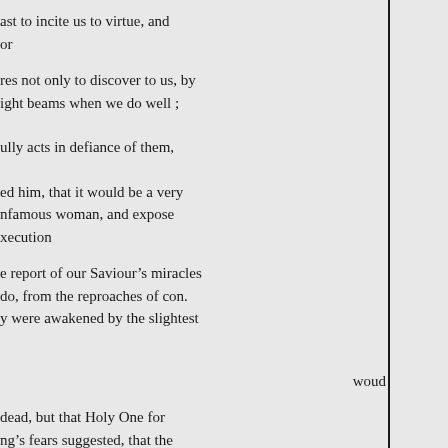ast to incite us to virtue, and or
res not only to discover to us, by ight beams when we do well ;
ully acts in defiance of them,
ed him, that it would be a very nfamous woman, and expose xecution
e report of our Saviour’s miracles do, from the reproaches of con. y were awakened by the slightest
woud
dead, but that Holy One for ng’s fears suggested, that the e for his iniquities and his own is apprehensions to his very al them